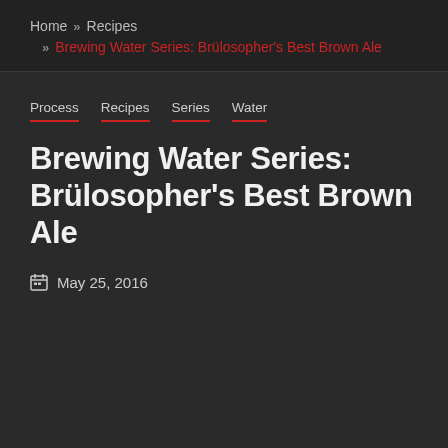Home » Recipes » Brewing Water Series: Brülosopher's Best Brown Ale
Process
Recipes
Series
Water
Brewing Water Series: Brülosopher's Best Brown Ale
May 25, 2016